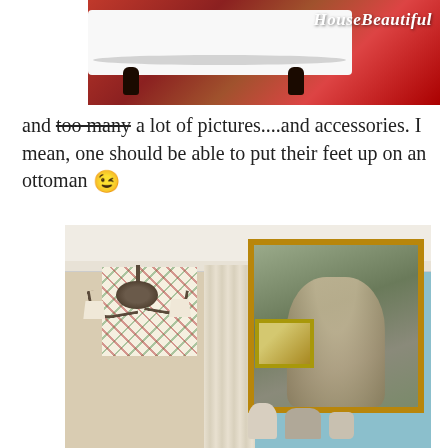[Figure (photo): A white ottoman/daybed on a red/rust patterned rug with dark turned legs, with 'HouseBeautiful' logo in white text overlay on the right side]
and too many a lot of pictures....and accessories. I mean, one should be able to put their feet up on an ottoman 😉
[Figure (photo): Interior room with light blue walls featuring a large ornate gold-framed classical painting, a smaller gold mirror, a bronze Murano-style chandelier, patterned roman shade, linen drapes, and decorative accessories on a shelf]